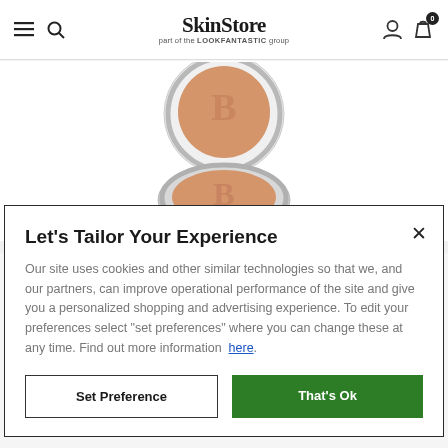SkinStore — part of the LOOKFANTASTIC group
[Figure (photo): A silver compact powder case open showing two circular pans with beige/tan powder and an embossed logo, photographed on white background.]
Let's Tailor Your Experience
Our site uses cookies and other similar technologies so that we, and our partners, can improve operational performance of the site and give you a personalized shopping and advertising experience. To edit your preferences select "set preferences" where you can change these at any time. Find out more information here.
Set Preference
That's Ok